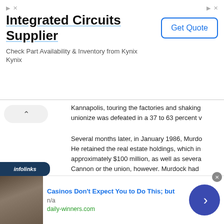[Figure (screenshot): Advertisement banner for Integrated Circuits Supplier (Kynix). Shows title 'Integrated Circuits Supplier', subtitle 'Check Part Availability & Inventory from Kynix', brand 'Kynix', and a 'Get Quote' button. Has ad icons in top right.]
Kannapolis, touring the factories and shaking... unionize was defeated in a 37 to 63 percent v...
Several months later, in January 1986, Murdo... He retained the real estate holdings, which in... approximately $100 million, as well as severa... Cannon or the union, however. Murdock had ... been terminated shortly before the sale was c... mishandled the funds and thus violated his fi...
The point of contention was Murdock's use o... started acquiring Occidental stock in 1981. In... barred him from acquiring more than five per...
[Figure (screenshot): Infolinks label bar (dark blue, rounded right) and bottom advertisement: 'Casinos Don't Expect You to Do This; but' with n/a subtitle and daily-winners.com URL, photo of a man, and a blue circular arrow button. Has a close X button.]